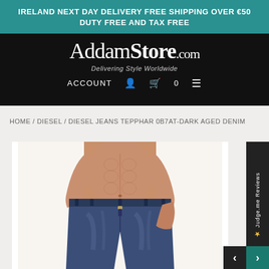IRELAND NEXT DAY DELIVERY FREE SHIPPING OVER €50 DUTY FREE AND TAX FREE
[Figure (logo): AddamStore.com logo with tagline 'Delivering Style Worldwide' on black background, with ACCOUNT, cart (0), and menu icons]
HOME / DIESEL / DIESEL JEANS TEPPHAR 0B7AT-DARK AGED DENIM
[Figure (photo): Male model wearing dark aged denim jeans (Diesel Jeans Tepphar 0B7AT), torso cropped showing abs and jeans. Judge.me Reviews sidebar on the right with navigation arrows.]